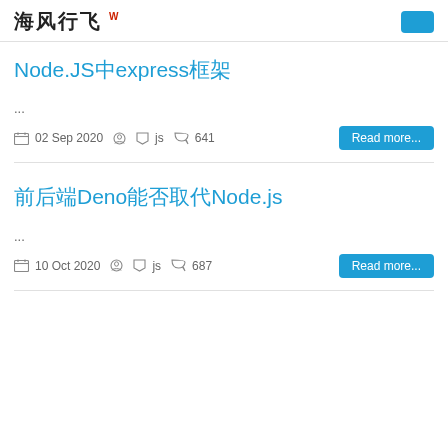海风行飞 W
Node.JS中express框架
...
02 Sep 2020  js  641  Read more...
前后端Deno能否取代Node.js
...
10 Oct 2020  js  687  Read more...